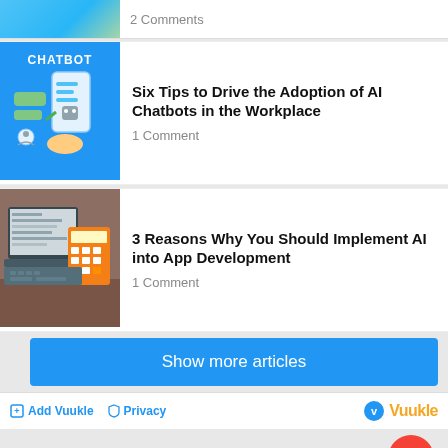2 Comments
[Figure (illustration): Chatbot illustration with smartphone and robot on blue background, labeled CHATBOT]
Six Tips to Drive the Adoption of AI Chatbots in the Workplace
1 Comment
[Figure (photo): Laptop and calculator on desk, app development scene]
3 Reasons Why You Should Implement AI into App Development
1 Comment
Show more articles
Add Vuukle   Privacy   Vuukle
Privacy & Cookies Policy